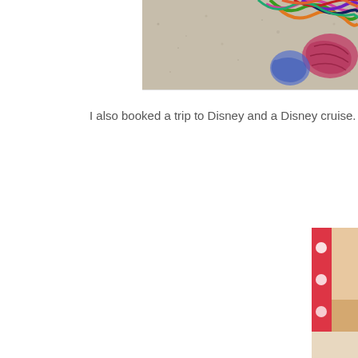[Figure (photo): Partial view of colorful yarn skeins on a concrete/gravel surface, cropped at top of page. Colors include pink, orange, green, purple, black.]
I also booked a trip to Disney and a Disney cruise. So, thanks to Pinterest, b
[Figure (photo): A young girl with long blonde hair smiling, holding a white framed picture. She is wearing casual clothes. Behind her is a red Hello Kitty patterned blanket/jacket and a white piece of furniture. The photo is cropped on the right side.]